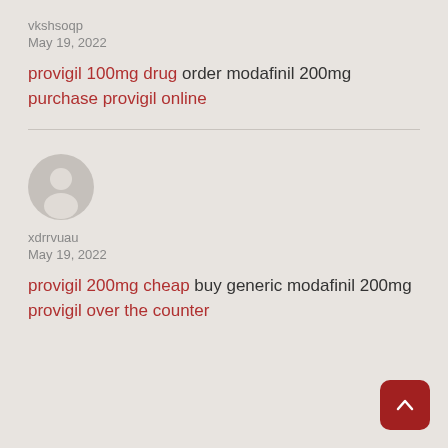vkshsoqp
May 19, 2022
provigil 100mg drug order modafinil 200mg purchase provigil online
[Figure (illustration): Generic user avatar circle with silhouette]
xdrrvuau
May 19, 2022
provigil 200mg cheap buy generic modafinil 200mg provigil over the counter